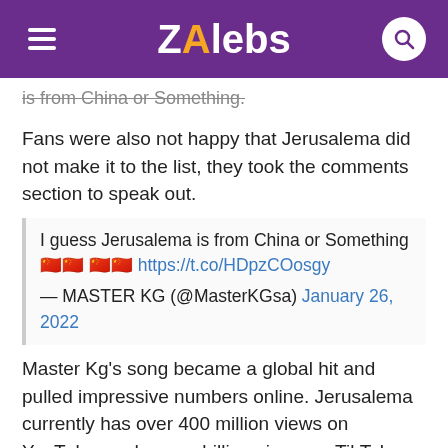ZAlebs
is from China or Something.
Fans were also not happy that Jerusalema did not make it to the list, they took the comments section to speak out.
I guess Jerusalema is from China or Something 🇨🇳🇨🇳 🇨🇳🇨🇳 https://t.co/HDpzCOosgy — MASTER KG (@MasterKGsa) January 26, 2022
Master Kg's song became a global hit and pulled impressive numbers online. Jerusalema currently has over 400 million views on YouTube, and over a billion views on TikTok. This means another stream of income for the Jerusalema hitmakers, especially after Tik Tok